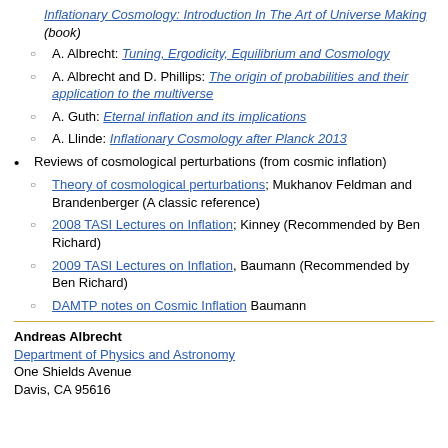A. Narupe: Inflationary Cosmology: Introduction In The Art of Universe Making (book)
A. Albrecht: Tuning, Ergodicity, Equilibrium and Cosmology
A. Albrecht and D. Phillips: The origin of probabilities and their application to the multiverse
A. Guth: Eternal inflation and its implications
A. Llinde: Inflationary Cosmology after Planck 2013
Reviews of cosmological perturbations (from cosmic inflation)
Theory of cosmological perturbations; Mukhanov Feldman and Brandenberger (A classic reference)
2008 TASI Lectures on Inflation; Kinney (Recommended by Ben Richard)
2009 TASI Lectures on Inflation, Baumann (Recommended by Ben Richard)
DAMTP notes on Cosmic Inflation Baumann
Andreas Albrecht
Department of Physics and Astronomy
One Shields Avenue
Davis, CA 95616